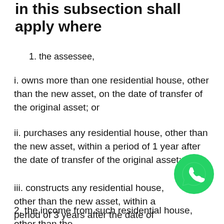in this subsection shall apply where
1. the assessee,
i. owns more than one residential house, other than the new asset, on the date of transfer of the original asset; or
ii. purchases any residential house, other than the new asset, within a period of 1 year after the date of transfer of the original asset; or
iii. constructs any residential house, other than the new asset, within a period of 3 years after the date of transfer of the original asset; and
[Figure (logo): WhatsApp logo - green circle with white phone/chat icon]
2. the income from such residential house, other than the